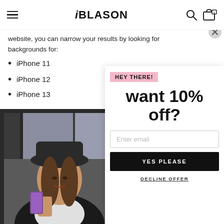iBLASON
website, you can narrow your results by looking for backgrounds for:
iPhone 11
iPhone 12
iPhone 13
[Figure (photo): Woman smiling holding a purple phone case, wearing a black hat and leather jacket]
HEY THERE!
want 10% off?
Enter email
YES PLEASE
DECLINE OFFER